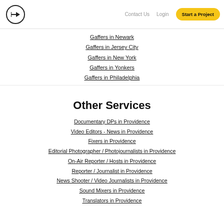Contact Us | Login | Start a Project
Gaffers in Newark
Gaffers in Jersey City
Gaffers in New York
Gaffers in Yonkers
Gaffers in Philadelphia
Other Services
Documentary DPs in Providence
Video Editors - News in Providence
Fixers in Providence
Editorial Photographer / Photojournalists in Providence
On-Air Reporter / Hosts in Providence
Reporter / Journalist in Providence
News Shooter / Video Journalists in Providence
Sound Mixers in Providence
Translators in Providence